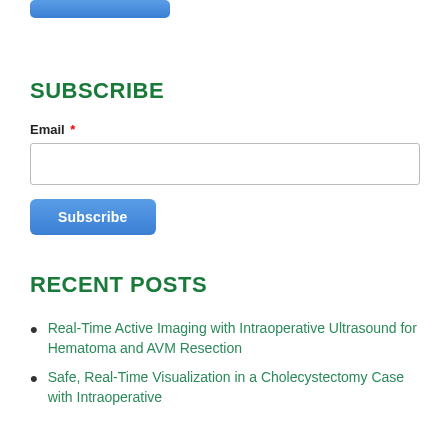[Figure (other): Blue button (partially visible at top of page)]
SUBSCRIBE
Email *
[Figure (other): Email input text field (empty, with border)]
[Figure (other): Subscribe button (blue gradient button)]
RECENT POSTS
Real-Time Active Imaging with Intraoperative Ultrasound for Hematoma and AVM Resection
Safe, Real-Time Visualization in a Cholecystectomy Case with Intraoperative